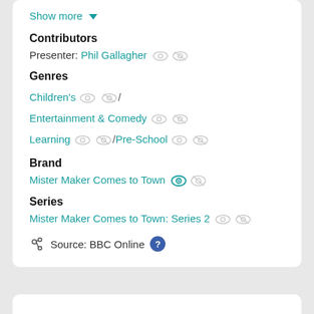Show more ▼
Contributors
Presenter: Phil Gallagher
Genres
Children's / Entertainment & Comedy
Learning /Pre-School
Brand
Mister Maker Comes to Town
Series
Mister Maker Comes to Town: Series 2
Source: BBC Online